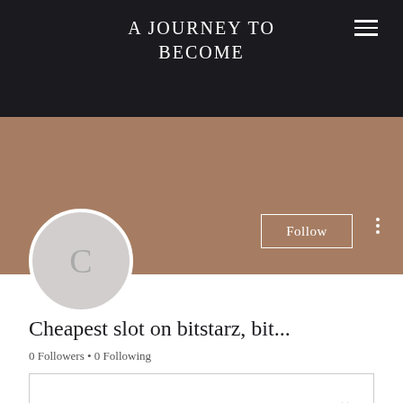A JOURNEY TO BECOME
[Figure (screenshot): Blog/website profile page screenshot showing a dark header with site title 'A JOURNEY TO BECOME', a tan/brown cover image area, a circular profile avatar with letter C, a Follow button, follower and following counts, and a dropdown box.]
Cheapest slot on bitstarz, bit...
0 Followers • 0 Following